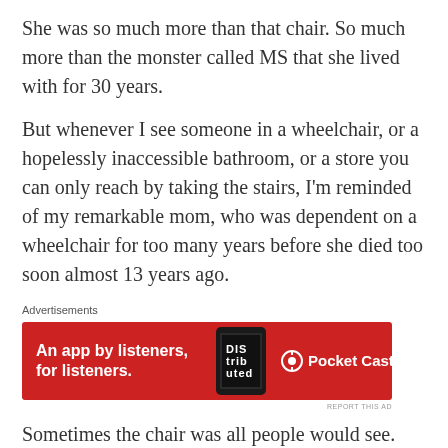She was so much more than that chair. So much more than the monster called MS that she lived with for 30 years.
But whenever I see someone in a wheelchair, or a hopelessly inaccessible bathroom, or a store you can only reach by taking the stairs, I'm reminded of my remarkable mom, who was dependent on a wheelchair for too many years before she died too soon almost 13 years ago.
[Figure (screenshot): Pocket Casts advertisement banner with red background. Text reads 'An app by listeners, for listeners.' with Pocket Casts logo and a phone image showing 'Distributed' text.]
Sometimes the chair was all people would see.
Sometimes it made this vibrant woman invisible.